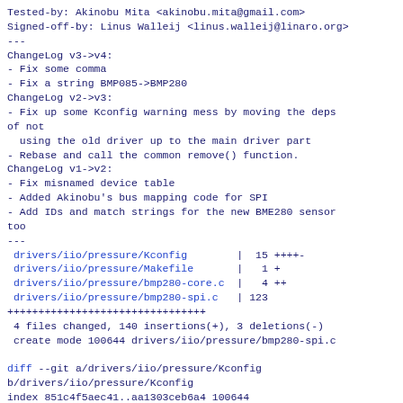Tested-by: Akinobu Mita <akinobu.mita@gmail.com>
Signed-off-by: Linus Walleij <linus.walleij@linaro.org>
---
ChangeLog v3->v4:
- Fix some comma
- Fix a string BMP085->BMP280
ChangeLog v2->v3:
- Fix up some Kconfig warning mess by moving the deps of not
  using the old driver up to the main driver part
- Rebase and call the common remove() function.
ChangeLog v1->v2:
- Fix misnamed device table
- Added Akinobu's bus mapping code for SPI
- Add IDs and match strings for the new BME280 sensor too
---
 drivers/iio/pressure/Kconfig        |  15 ++++- 
 drivers/iio/pressure/Makefile       |   1 +
 drivers/iio/pressure/bmp280-core.c  |   4 ++
 drivers/iio/pressure/bmp280-spi.c   | 123 +++++++++++++++++++++++++++++++
 4 files changed, 140 insertions(+), 3 deletions(-)
 create mode 100644 drivers/iio/pressure/bmp280-spi.c

diff --git a/drivers/iio/pressure/Kconfig
b/drivers/iio/pressure/Kconfig
index 851c4f5aec41..aa1303ceb6a4 100644
--- a/drivers/iio/pressure/Kconfig
+++ b/drivers/iio/pressure/Kconfig